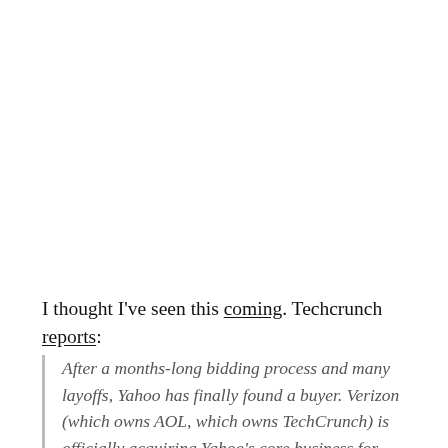I thought I've seen this coming. Techcrunch reports:
After a months-long bidding process and many layoffs, Yahoo has finally found a buyer. Verizon (which owns AOL, which owns TechCrunch) is officially acquiring Yahoo's core business for $4.83 billion in cash, which includes Yahoo's advertising,